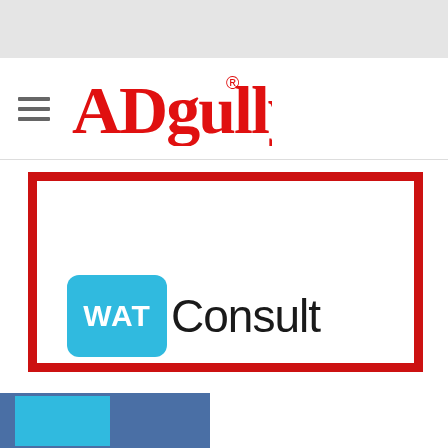[Figure (logo): ADgully logo - red handwritten/graffiti style text with registered trademark symbol, with hamburger menu icon to the left]
[Figure (logo): WAT Consult logo - blue square with WAT text in white and Consult in black, inside a red-bordered white card frame]
31 SHARES